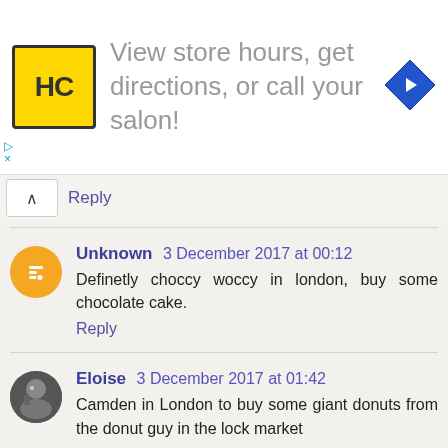[Figure (screenshot): Advertisement banner: HC (Hair Club) logo in yellow square, text 'View store hours, get directions, or call your salon!', blue diamond navigation icon]
Reply
Unknown 3 December 2017 at 00:12
Definetly choccy woccy in london, buy some chocolate cake.
Reply
Eloise 3 December 2017 at 01:42
Camden in London to buy some giant donuts from the donut guy in the lock market
Reply
Unknown 3 December 2017 at 05:13